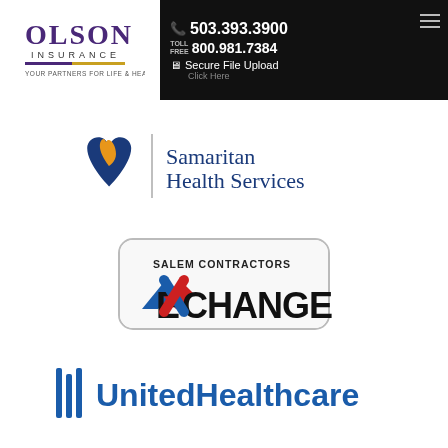[Figure (logo): Olson Insurance logo with tagline 'YOUR PARTNERS FOR LIFE & HEALTH']
[Figure (logo): Navigation bar with phone number 503.393.3900, toll free 800.981.7384, Secure File Upload link, and hamburger menu on black background]
[Figure (logo): Samaritan Health Services logo]
[Figure (logo): Salem Contractors Exchange logo]
[Figure (logo): UnitedHealthcare logo]